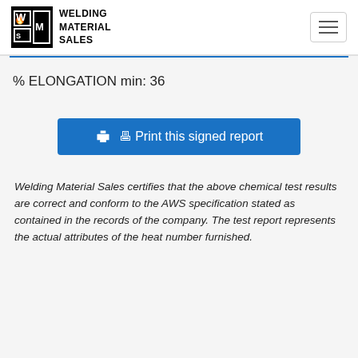WELDING MATERIAL SALES
% ELONGATION min: 36
Print this signed report
Welding Material Sales certifies that the above chemical test results are correct and conform to the AWS specification stated as contained in the records of the company. The test report represents the actual attributes of the heat number furnished.